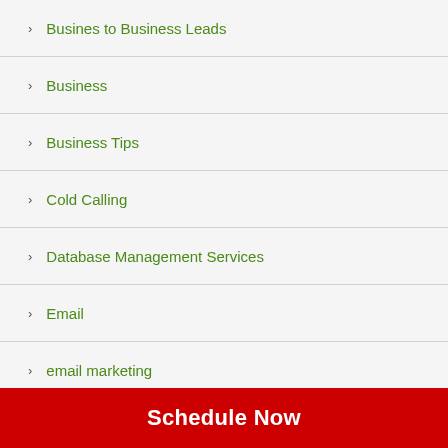Busines to Business Leads
Business
Business Tips
Cold Calling
Database Management Services
Email
email marketing
email marketing tips
Event Telemarketing
Inbound Telemarketing
Infographics
Inside Sales
Inside Sales Solutions
Schedule Now